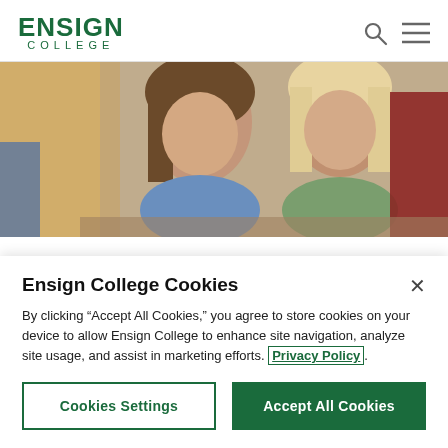[Figure (logo): Ensign College logo with green bold ENSIGN text and COLLEGE in spaced letters below]
[Figure (photo): Two female college students looking down at coursework together in a classroom setting]
Ensign College Cookies
By clicking “Accept All Cookies,” you agree to store cookies on your device to allow Ensign College to enhance site navigation, analyze site usage, and assist in marketing efforts. Privacy Policy.
Cookies Settings
Accept All Cookies